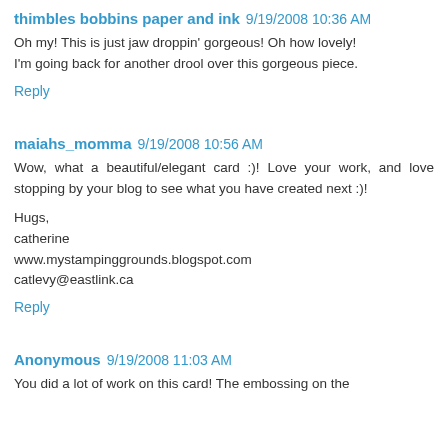thimbles bobbins paper and ink 9/19/2008 10:36 AM
Oh my! This is just jaw droppin' gorgeous! Oh how lovely! I'm going back for another drool over this gorgeous piece.
Reply
maiahs_momma 9/19/2008 10:56 AM
Wow, what a beautiful/elegant card :)! Love your work, and love stopping by your blog to see what you have created next :)!

Hugs,
catherine
www.mystampinggrounds.blogspot.com
catlevy@eastlink.ca
Reply
Anonymous 9/19/2008 11:03 AM
You did a lot of work on this card! The embossing on the